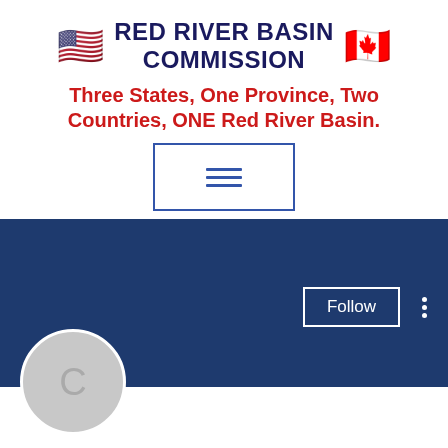[Figure (logo): Red River Basin Commission header with US flag emoji, Canadian flag emoji, organization name in dark navy bold text, and red italic subtitle]
RED RIVER BASIN COMMISSION
Three States, One Province, Two Countries, ONE Red River Basin.
[Figure (other): Hamburger menu button with three horizontal lines inside a rectangle border]
[Figure (screenshot): Social media profile page section with dark blue banner, Follow button, three-dot menu, circular avatar with letter C, profile name 'Casino dealer hiring abroad ...', and follower stats]
Casino dealer hiring abroad ...
0 Followers • 0 Following